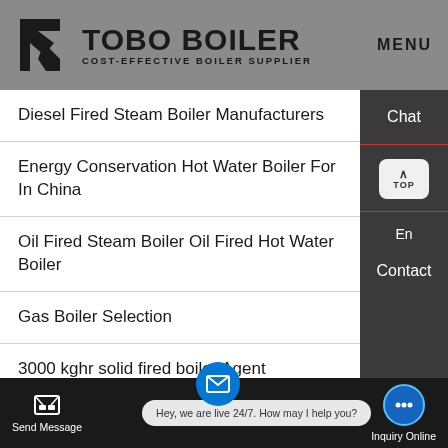TOBO BOILER — COST-EFFECTIVE BOILER SUPPLIER | MENU
Diesel Fired Steam Boiler Manufacturers
Energy Conservation Hot Water Boiler For In China
Oil Fired Steam Boiler Oil Fired Hot Water Boiler
Gas Boiler Selection
3000 kghr solid fired boiler Agent
14 Tons of Office building Peanut shells Boiler Installation
Send Message | Hey, we are live 24/7. How may I help you? | Inquiry Online